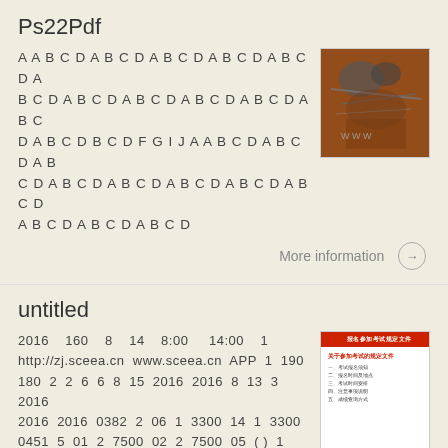Ps22Pdf
A A B C D A B C D A B C D A B C D A B C D A B C D A B C D A B C D A B C D A B C D B C D F G I J A A B C D A B C D A B C D A B C D A B C D A B C D A B C D A B C D A B C D
[Figure (photo): Photo of electronic components/wires on a brown/red surface]
More information →
untitled
2016 160 8 14 8:00 14:00 1 http://zj.sceea.cn www.sceea.cn APP 1 190 180 2 2 6 6 8 15 2016 2016 8 13 3 2016 2016 2016 0382 2 06 1 3300 14 1 3300 0451 5 01 2 7500 02 2 7500 05 ( ) 1 7500 1156 4 15 2 15000
[Figure (photo): Photo of a document with red header text and Chinese characters]
More information →